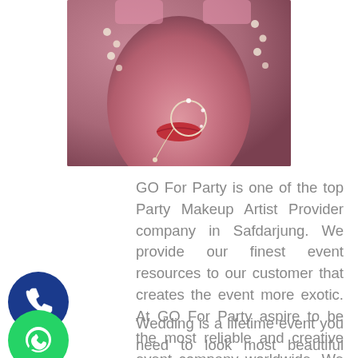[Figure (photo): Close-up photo of a bride with traditional Indian nose ring (nath) jewelry and pearl accessories, pink tones]
GO For Party is one of the top Party Makeup Artist Provider company in Safdarjung. We provide our finest event resources to our customer that creates the event more exotic. At GO For Party aspire to be the most reliable and creative event company worldwide. We always deliver a high standard of quality and value of money to our customers.
Wedding is a lifetime event you need to look most beautiful among your all life events. While among wedding